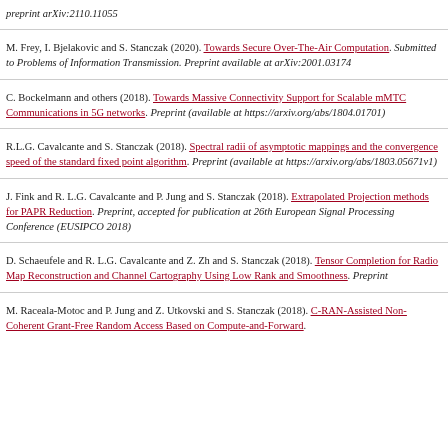preprint arXiv:2110.11055
M. Frey, I. Bjelakovic and S. Stanczak (2020). Towards Secure Over-The-Air Computation. Submitted to Problems of Information Transmission. Preprint available at arXiv:2001.03174
C. Bockelmann and others (2018). Towards Massive Connectivity Support for Scalable mMTC Communications in 5G networks. Preprint (available at https://arxiv.org/abs/1804.01701)
R.L.G. Cavalcante and S. Stanczak (2018). Spectral radii of asymptotic mappings and the convergence speed of the standard fixed point algorithm. Preprint (available at https://arxiv.org/abs/1803.05671v1)
J. Fink and R. L.G. Cavalcante and P. Jung and S. Stanczak (2018). Extrapolated Projection methods for PAPR Reduction. Preprint, accepted for publication at 26th European Signal Processing Conference (EUSIPCO 2018)
D. Schaeufele and R. L.G. Cavalcante and Z. Zh and S. Stanczak (2018). Tensor Completion for Radio Map Reconstruction and Channel Cartography Using Low Rank and Smoothness. Preprint
M. Raceala-Motoc and P. Jung and Z. Utkovski and S. Stanczak (2018). C-RAN-Assisted Non-Coherent Grant-Free Random Access Based on Compute-and-Forward.